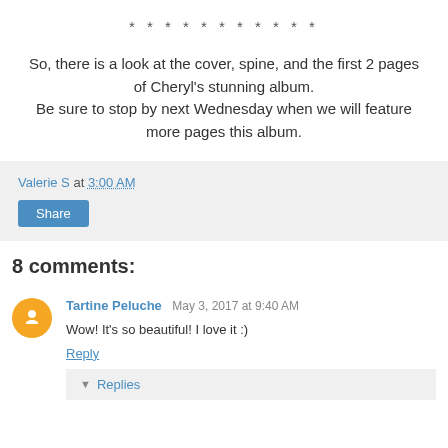* * * * * * * * * * *
So, there is a look at the cover, spine, and the first 2 pages of Cheryl's stunning album. Be sure to stop by next Wednesday when we will feature more pages this album.
Valerie S at 3:00 AM
Share
8 comments:
Tartine Peluche May 3, 2017 at 9:40 AM
Wow! It's so beautiful! I love it :)
Reply
▼ Replies